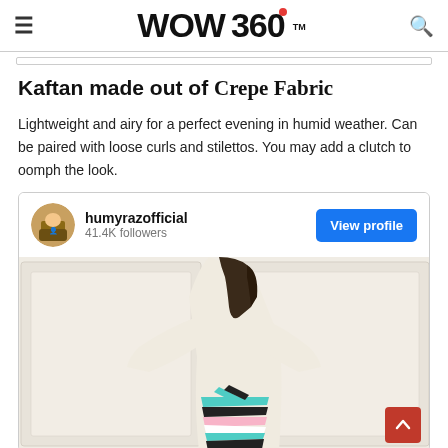WOW 360™
Kaftan made out of Crepe Fabric
Lightweight and airy for a perfect evening in humid weather. Can be paired with loose curls and stilettos. You may add a clutch to oomph the look.
[Figure (screenshot): Instagram profile embed card showing humyrazofficial with 41.4K followers and a View profile button, followed by a photo of a woman in a kaftan with colorful stripes]